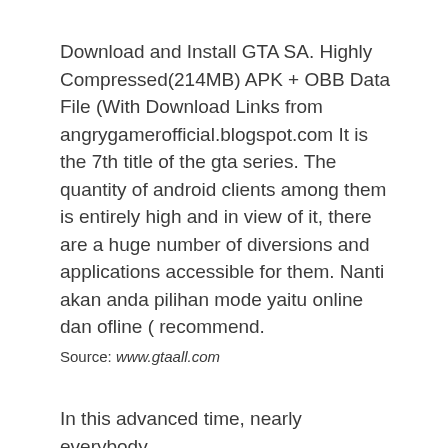Download and Install GTA SA. Highly Compressed(214MB) APK + OBB Data File (With Download Links from angrygamerofficial.blogspot.com It is the 7th title of the gta series. The quantity of android clients among them is entirely high and in view of it, there are a huge number of diversions and applications accessible for them. Nanti akan anda pilihan mode yaitu online dan ofline ( recommend.
Source: www.gtaall.com
In this advanced time, nearly everybody